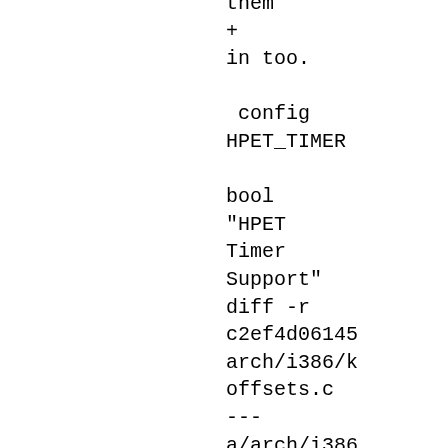them
+
in too.

 config
HPET_TIMER

bool
"HPET
Timer
Support"
diff -r
c2ef4d06145
arch/i386/k
offsets.c
---
a/arch/i386
offsets.c
Mon Feb
12
12:56:58
2007
+1100
+++
b/arch/i386
offsets.c
Mon Feb
12
12:57:00
2007